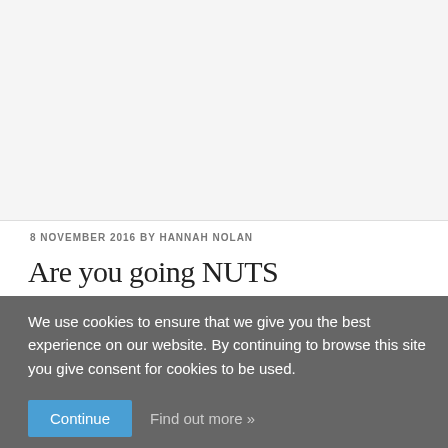8 NOVEMBER 2016 BY HANNAH NOLAN
Are you going NUTS
We use cookies to ensure that we give you the best experience on our website. By continuing to browse this site you give consent for cookies to be used.
Continue  Find out more »